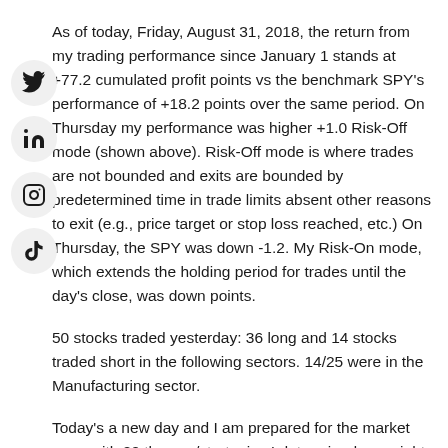As of today, Friday, August 31, 2018, the return from my trading performance since January 1 stands at +77.2 cumulated profit points vs the benchmark SPY's performance of +18.2 points over the same period. On Thursday my performance was higher +1.0 Risk-Off mode (shown above). Risk-Off mode is where trades are not bounded and exits are bounded by predetermined time in trade limits absent other reasons to exit (e.g., price target or stop loss reached, etc.) On Thursday, the SPY was down -1.2. My Risk-On mode, which extends the holding period for trades until the day's close, was down points.
50 stocks traded yesterday: 36 long and 14 stocks traded short in the following sectors. 14/25 were in the Manufacturing sector.
Today's a new day and I am prepared for the market open with 20 themes/strategies I determined overnight will best match what the market throws at us. I may or